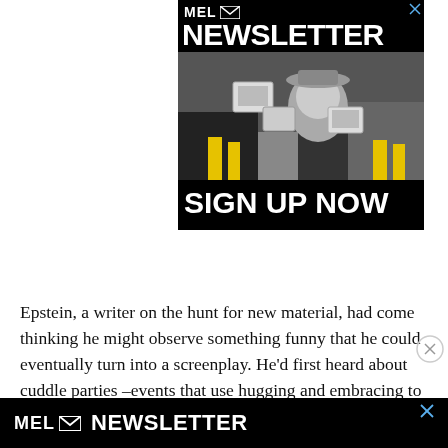[Figure (advertisement): MEL Newsletter advertisement with black background, large white NEWSLETTER text, black-and-white photo of a person in cowboy hat surrounded by computer monitors, and SIGN UP NOW text at bottom]
Epstein, a writer on the hunt for new material, had come thinking he might observe something funny that he could eventually turn into a screenplay. He’d first heard about cuddle parties –events that use hugging and embracing to te... w...
[Figure (advertisement): MEL Newsletter bottom banner advertisement with black background and white text MEL NEWSLETTER with envelope icon]